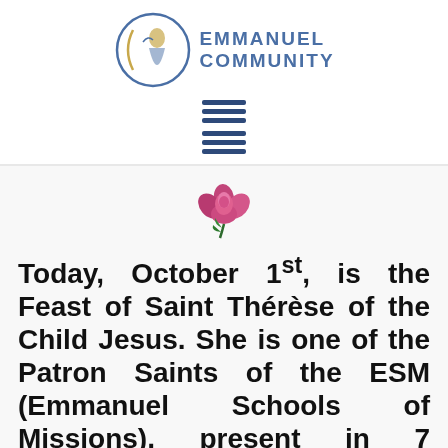[Figure (logo): Emmanuel Community logo with circular icon of a figure and crescent moon on the left, and text 'EMMANUEL COMMUNITY' in blue on the right]
[Figure (other): Two hamburger menu icons (three horizontal lines each) stacked vertically, in dark navy blue]
[Figure (photo): A pink/magenta rose flower emoji or illustration centered on the page]
Today, October 1st, is the Feast of Saint Thérèse of the Child Jesus. She is one of the Patron Saints of the ESM (Emmanuel Schools of Missions), present in 7 countries and 5 continents. We invite you to be actors by joining us in this